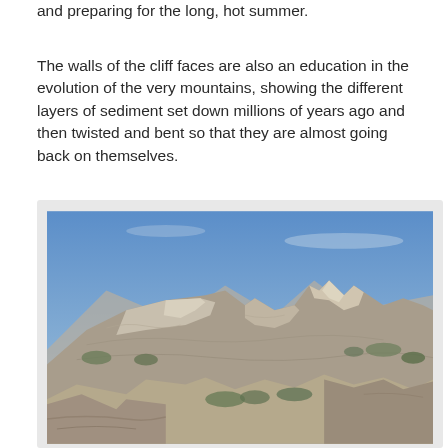and preparing for the long, hot summer.
The walls of the cliff faces are also an education in the evolution of the very mountains, showing the different layers of sediment set down millions of years ago and then twisted and bent so that they are almost going back on themselves.
[Figure (photo): Photograph of rugged rocky mountain cliff faces with visible sediment layers under a blue sky, with some vegetation at the base.]